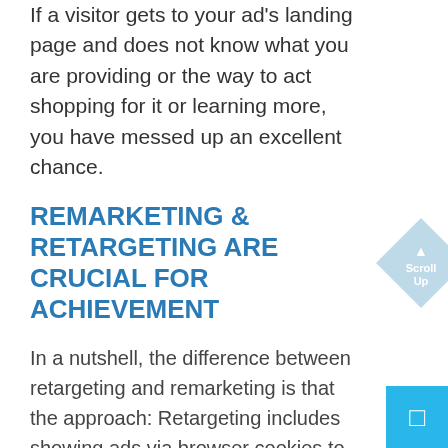If a visitor gets to your ad's landing page and does not know what you are providing or the way to act shopping for it or learning more, you have messed up an excellent chance.
REMARKETING & RETARGETING ARE CRUCIAL FOR ACHIEVEMENT
In a nutshell, the difference between retargeting and remarketing is that the approach: Retargeting includes showing ads via browser cookies to prospects and remarketing includes grouping prospects' data and sending them sales emails. The goal of each method is to induce the prospect to convert.
With additional and additional customers online with access to virtually unlimited info and product, retargeting and remarketing became vital for all